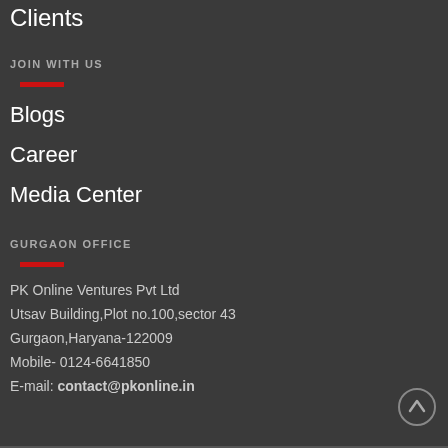Clients
JOIN WITH US
Blogs
Career
Media Center
GURGAON OFFICE
PK Online Ventures Pvt Ltd
Utsav Building,Plot no.100,sector 43
Gurgaon,Haryana-122009
Mobile- 0124-6641850
E-mail: contact@pkonline.in